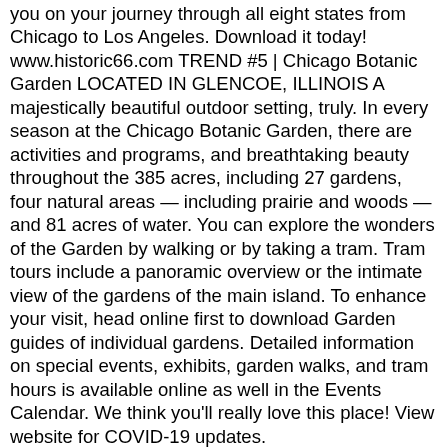you on your journey through all eight states from Chicago to Los Angeles. Download it today! www.historic66.com TREND #5 | Chicago Botanic Garden LOCATED IN GLENCOE, ILLINOIS A majestically beautiful outdoor setting, truly. In every season at the Chicago Botanic Garden, there are activities and programs, and breathtaking beauty throughout the 385 acres, including 27 gardens, four natural areas — including prairie and woods — and 81 acres of water. You can explore the wonders of the Garden by walking or by taking a tram. Tram tours include a panoramic overview or the intimate view of the gardens of the main island. To enhance your visit, head online first to download Garden guides of indi-vidual gardens. Detailed information on special events, exhibits, garden walks, and tram hours is available online as well in the Events Calendar. We think you'll really love this place! View website for COVID-19 updates. www.chicagobotanic.org TREND #6 | Cave of the Mounds LOCATED IN BLUE MOUNDS, WISCONSIN Less than 3 hours from Naperville, Cave of the Mounds National Natural Landmark is truly something to see in your lifetime. Celebrating 75 years since the Cave opened for tours, it has